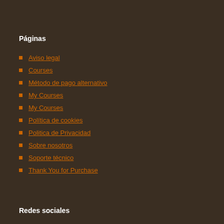Páginas
Aviso legal
Courses
Método de pago alternativo
My Courses
My Courses
Política de cookies
Politica de Privacidad
Sobre nosotros
Soporte técnico
Thank You for Purchase
Redes sociales